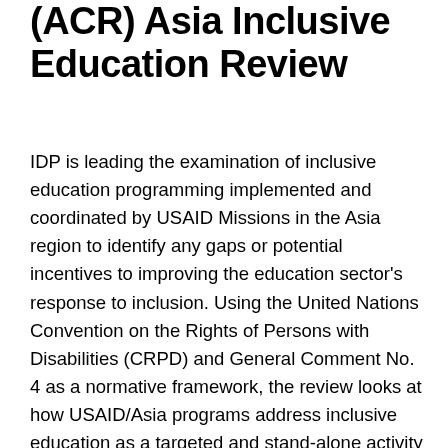(ACR) Asia Inclusive Education Review
IDP is leading the examination of inclusive education programming implemented and coordinated by USAID Missions in the Asia region to identify any gaps or potential incentives to improving the education sector's response to inclusion. Using the United Nations Convention on the Rights of Persons with Disabilities (CRPD) and General Comment No. 4 as a normative framework, the review looks at how USAID/Asia programs address inclusive education as a targeted and stand-alone activity as well as a component within the broader education programming in various countries in the region. The review, which is funded by USAID ACR Asia and implemented by Research